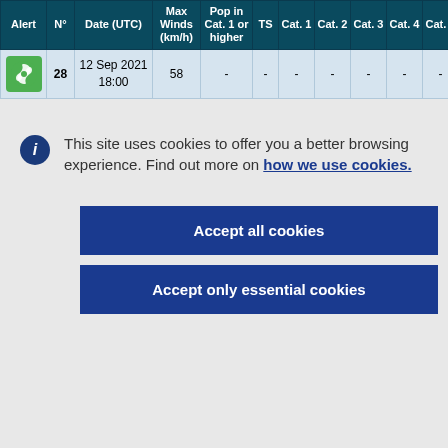| Alert | N° | Date (UTC) | Max Winds (km/h) | Pop in Cat. 1 or higher | TS | Cat. 1 | Cat. 2 | Cat. 3 | Cat. 4 | Cat. 5 | Co |
| --- | --- | --- | --- | --- | --- | --- | --- | --- | --- | --- | --- |
| [hurricane icon] | 28 | 12 Sep 2021 18:00 | 58 | - | - | - | - | - | - | - |
This site uses cookies to offer you a better browsing experience. Find out more on how we use cookies.
Accept all cookies
Accept only essential cookies